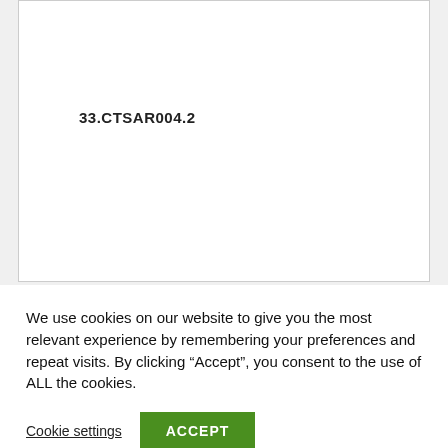33.CTSAR004.2
We use cookies on our website to give you the most relevant experience by remembering your preferences and repeat visits. By clicking “Accept”, you consent to the use of ALL the cookies.
Cookie settings
ACCEPT